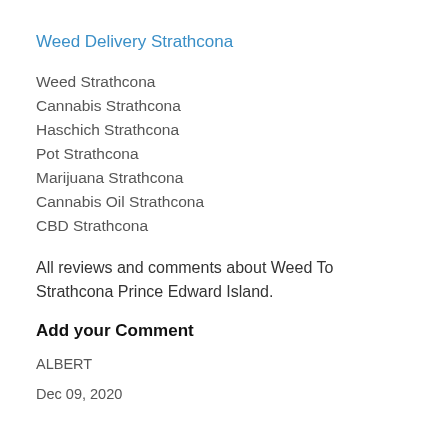Weed Delivery Strathcona
Weed Strathcona
Cannabis Strathcona
Haschich Strathcona
Pot Strathcona
Marijuana Strathcona
Cannabis Oil Strathcona
CBD Strathcona
All reviews and comments about Weed To Strathcona Prince Edward Island.
Add your Comment
ALBERT
Dec 09, 2020